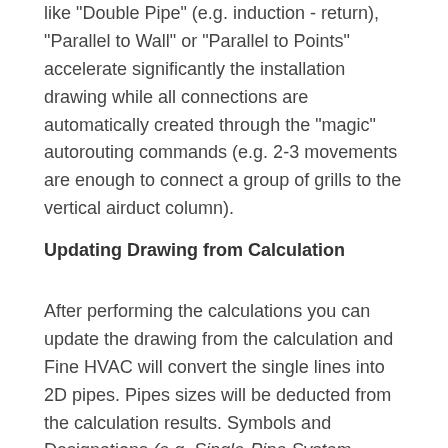like "Double Pipe" (e.g. induction - return), "Parallel to Wall" or "Parallel to Points" accelerate significantly the installation drawing while all connections are automatically created through the "magic" autorouting commands (e.g. 2-3 movements are enough to connect a group of grills to the vertical airduct column).
Updating Drawing from Calculation
After performing the calculations you can update the drawing from the calculation and Fine HVAC will convert the single lines into 2D pipes. Pipes sizes will be deducted from the calculation results. Symbols and Designations (e.g. Single-Pipe System